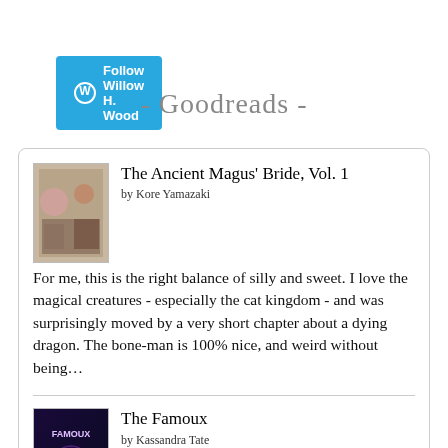[Figure (logo): WordPress Follow button: blue rounded rectangle with WP circle logo and text 'Follow Willow H. Wood']
- Goodreads -
The Ancient Magus' Bride, Vol. 1
by Kore Yamazaki
For me, this is the right balance of silly and sweet. I love the magical creatures - especially the cat kingdom - and was surprisingly moved by a very short chapter about a dying dragon. The bone-man is 100% nice, and weird without being...
The Famoux
by Kassandra Tate
You've got to be kidding me - why do I keep picking up books this year that haven't published the